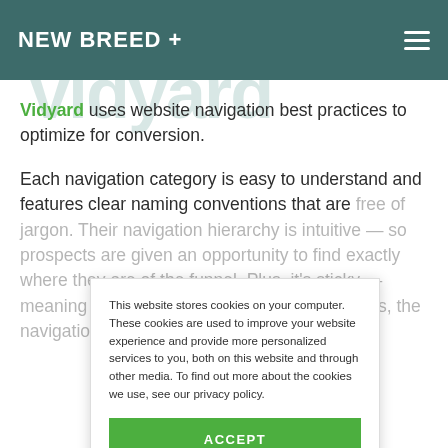NEW BREED +
Vidyard uses website navigation best practices to optimize for conversion.
Each navigation category is easy to understand and features clear naming conventions that are free of jargon. Their navigation hierarchy is intuitive — so prospects are given an opportunity to find exactly where they are of the funnel. Plus, it's sticky — meaning that no matter where the visitor scrolls, the navigation menu will follow.
This website stores cookies on your computer. These cookies are used to improve your website experience and provide more personalized services to you, both on this website and through other media. To find out more about the cookies we use, see our privacy policy.
ACCEPT